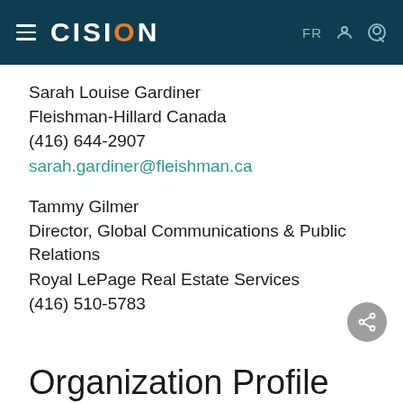CISION — FR
Sarah Louise Gardiner
Fleishman-Hillard Canada
(416) 644-2907
sarah.gardiner@fleishman.ca
Tammy Gilmer
Director, Global Communications & Public Relations
Royal LePage Real Estate Services
(416) 510-5783
Organization Profile